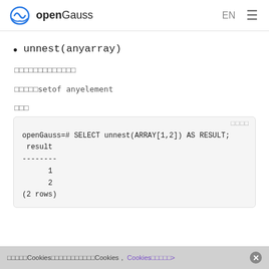openGauss EN
unnest(anyarray)
（Chinese characters - description text）
（Chinese characters）setof anyelement
（Chinese characters - example label）
[Figure (screenshot): Code block showing: openGauss=# SELECT unnest(ARRAY[1,2]) AS RESULT;
 result
--------
      1
      2
(2 rows)]
（Chinese cookie notice）Cookies（Chinese text）Cookies（Chinese text） Cookies（Chinese link text）>  ✕